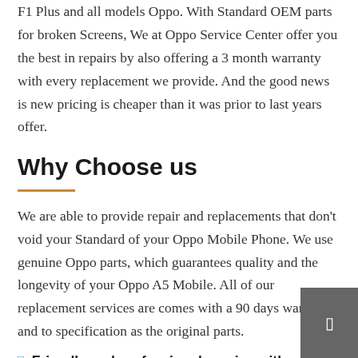F1 Plus and all models Oppo. With Standard OEM parts for broken Screens, We at Oppo Service Center offer you the best in repairs by also offering a 3 month warranty with every replacement we provide. And the good news is new pricing is cheaper than it was prior to last years offer.
Why Choose us
We are able to provide repair and replacements that don't void your Standard of your Oppo Mobile Phone. We use genuine Oppo parts, which guarantees quality and the longevity of your Oppo A5 Mobile. All of our replacement services are comes with a 90 days warranty and to specification as the original parts.
Friendly and professional service with affordable